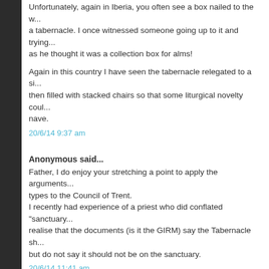Unfortunately, again in Iberia, you often see a box nailed to the w... a tabernacle. I once witnessed someone going up to it and trying... as he thought it was a collection box for alms!
Again in this country I have seen the tabernacle relegated to a si... then filled with stacked chairs so that some liturgical novelty coul... nave.
20/6/14 9:37 am
Anonymous said...
Father, I do enjoy your stretching a point to apply the arguments... types to the Council of Trent. I recently had experience of a priest who did conflated "sanctuary... realise that the documents (is it the GIRM) say the Tabernacle sh... but do not say it should not be on the sanctuary.
20/6/14 11:41 am
Anonymous said...
oh, and Pelerin, I think the French says that no religion (etc.) cam... (pour elle seule la propriété de la verité)
20/6/14 11:43 am
Unknown said...